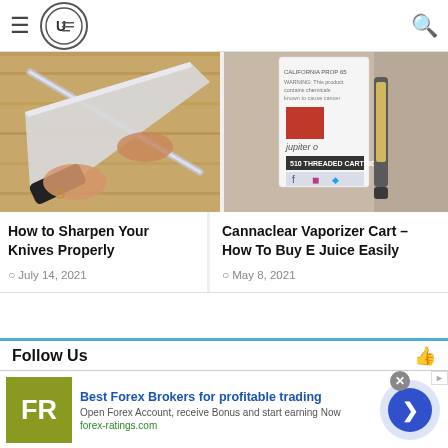Navigation header with hamburger menu, logo, and search icon
and commercial fishing?
April 21, 2021
[Figure (photo): Hands sharpening a knife on a honing steel over a wooden cutting board]
[Figure (photo): Cannaclear vaporizer cartridge product image with social media icons]
How to Sharpen Your Knives Properly
July 14, 2021
Cannaclear Vaporizer Cart – How To Buy E Juice Easily
May 8, 2021
Follow Us
[Figure (infographic): Advertisement banner: Best Forex Brokers for profitable trading. FR logo in olive green. Open Forex Account, receive Bonus and start earning Now. forex-ratings.com]